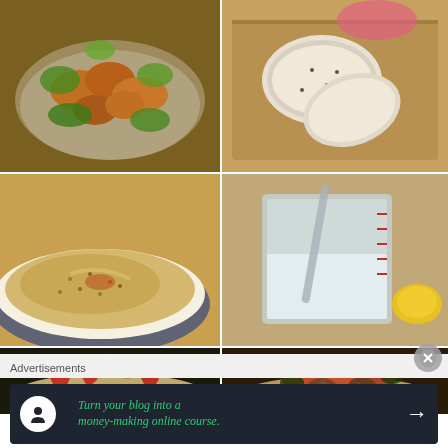[Figure (photo): Food photo: spicy fried chicken or meatballs on a salad with lettuce and green vegetables in a white bowl]
[Figure (photo): Food photo: sliced bread on a wooden cutting board with a pink bowl in background]
[Figure (photo): Food photo: close-up of hummus or tahini dip in a blue-rimmed plate with sesame seeds]
[Figure (photo): Food photo: measuring cup with liquid (water or stock) and a lemon in background]
[Figure (photo): Food photo: flatbread or pizza with arugula, red peppers, and herbs on top]
[Figure (photo): Food photo: stir-fry or sauteed vegetables with red peppers, mushrooms on flatbread]
Advertisements
[Figure (infographic): Advertisement banner: dark background with Teachable logo (person icon in white circle), green italic text 'Turn your blog into a money-making online course.' and white arrow pointing right]